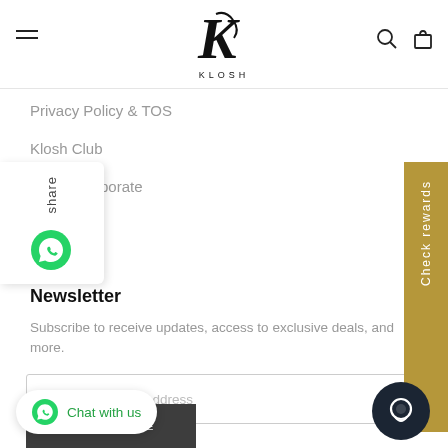[Figure (logo): Klosh brand logo - stylized K in script with KLOSH text below]
Privacy Policy & TOS
Klosh Club
Corporate
Newsletter
Subscribe to receive updates, access to exclusive deals, and more.
Enter your email address
SUBSCRIBE
Chat with us